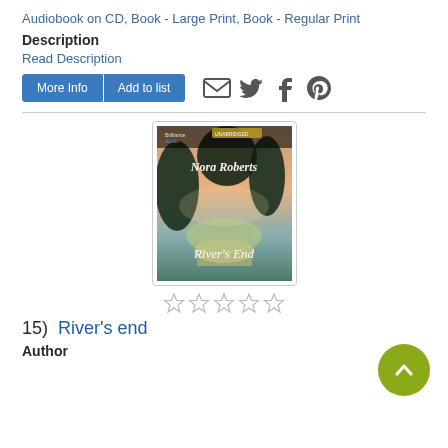Audiobook on CD, Book - Large Print, Book - Regular Print
Description
Read Description
[Figure (screenshot): Buttons: 'More Info' and 'Add to list', plus social sharing icons for email, Twitter, Facebook, Pinterest]
[Figure (photo): Book cover for 'River's End' by Nora Roberts, audiobook unabridged edition, showing a river landscape with trees and misty mountains]
[Figure (other): 5 empty star rating icons]
15)  River's end
Author